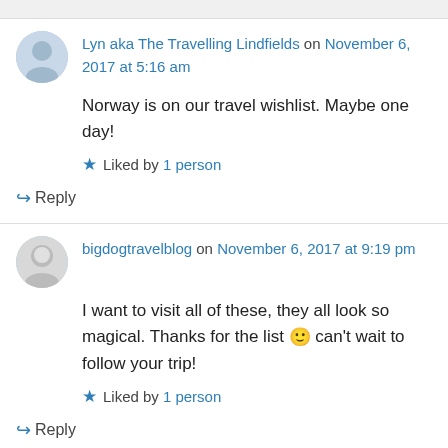Lyn aka The Travelling Lindfields on November 6, 2017 at 5:16 am
Norway is on our travel wishlist. Maybe one day!
Liked by 1 person
Reply
bigdogtravelblog on November 6, 2017 at 9:19 pm
I want to visit all of these, they all look so magical. Thanks for the list 🙂 can't wait to follow your trip!
Liked by 1 person
Reply